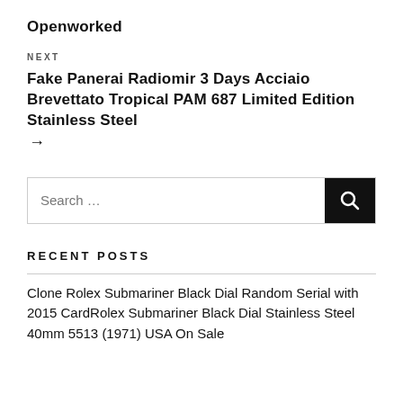Openworked
NEXT
Fake Panerai Radiomir 3 Days Acciaio Brevettato Tropical PAM 687 Limited Edition Stainless Steel →
[Figure (other): Search bar with text 'Search …' and a black search button with magnifying glass icon]
RECENT POSTS
Clone Rolex Submariner Black Dial Random Serial with 2015 CardRolex Submariner Black Dial Stainless Steel 40mm 5513 (1971) USA On Sale